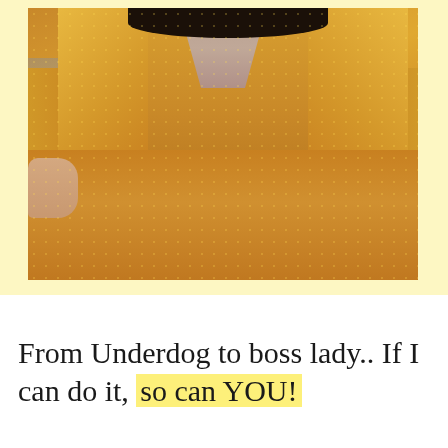[Figure (photo): Close-up photo of a woman wearing a mustard yellow wrap dress with a tie waist, short sleeves, and dotted texture fabric. The image is cropped to show the torso area. The photo is set against a light yellow background border.]
From Underdog to boss lady.. If I can do it, so can YOU!